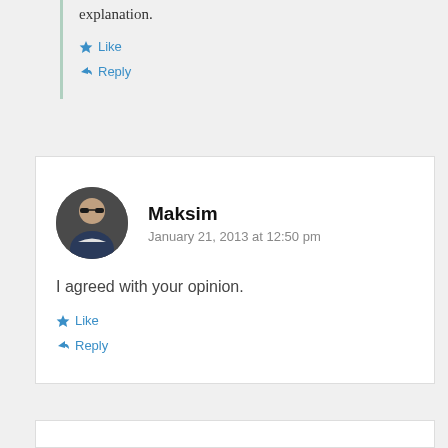explanation.
★ Like
↪ Reply
Maksim
January 21, 2013 at 12:50 pm
I agreed with your opinion.
★ Like
↪ Reply